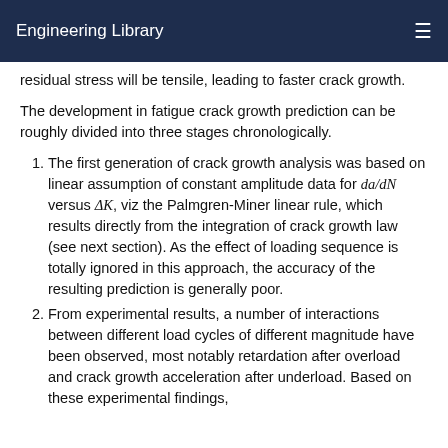Engineering Library
residual stress will be tensile, leading to faster crack growth.
The development in fatigue crack growth prediction can be roughly divided into three stages chronologically.
The first generation of crack growth analysis was based on linear assumption of constant amplitude data for da/dN versus ΔK, viz the Palmgren-Miner linear rule, which results directly from the integration of crack growth law (see next section). As the effect of loading sequence is totally ignored in this approach, the accuracy of the resulting prediction is generally poor.
From experimental results, a number of interactions between different load cycles of different magnitude have been observed, most notably retardation after overload and crack growth acceleration after underload. Based on these experimental findings,